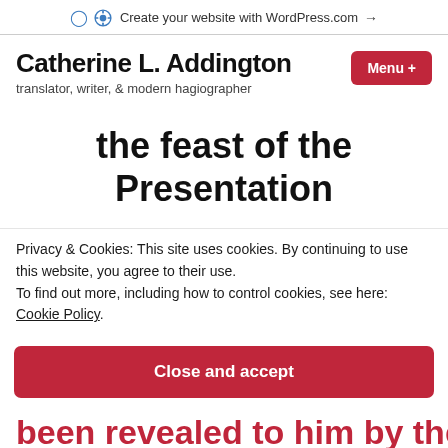Create your website with WordPress.com →
Catherine L. Addington
translator, writer, & modern hagiographer
the feast of the Presentation
Privacy & Cookies: This site uses cookies. By continuing to use this website, you agree to their use.
To find out more, including how to control cookies, see here: Cookie Policy
Close and accept
been revealed to him by the Holy